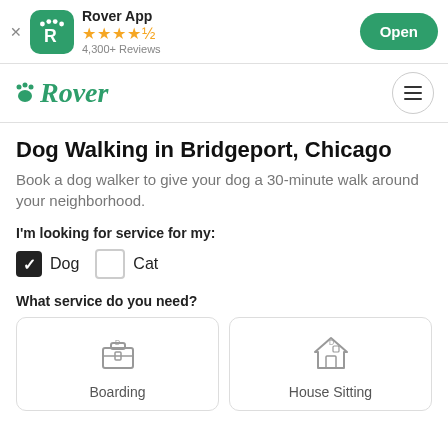[Figure (screenshot): Rover App banner with icon, 4.5 star rating, 4,300+ Reviews, and Open button]
[Figure (logo): Rover logo in green italic font with paw print icon, and hamburger menu]
Dog Walking in Bridgeport, Chicago
Book a dog walker to give your dog a 30-minute walk around your neighborhood.
I'm looking for service for my:
Dog (checked) Cat (unchecked)
What service do you need?
Boarding
House Sitting